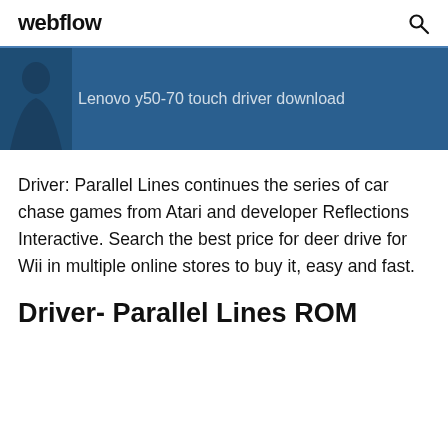webflow
[Figure (illustration): Blue banner with a dark silhouette figure on the left and text 'Lenovo y50-70 touch driver download' in muted white on a dark blue background]
Driver: Parallel Lines continues the series of car chase games from Atari and developer Reflections Interactive. Search the best price for deer drive for Wii in multiple online stores to buy it, easy and fast.
Driver- Parallel Lines ROM